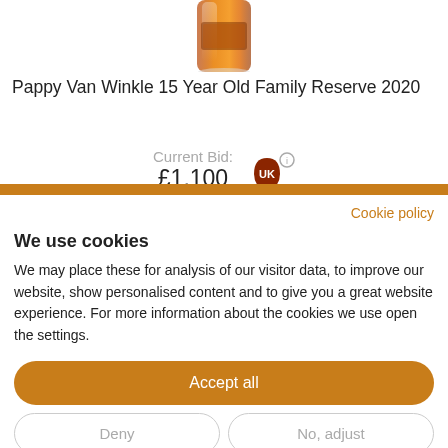[Figure (photo): Partial image of a whiskey bottle (amber liquid visible) cropped at the top]
Pappy Van Winkle 15 Year Old Family Reserve 2020
Current Bid: £1,100
Cookie policy
We use cookies
We may place these for analysis of our visitor data, to improve our website, show personalised content and to give you a great website experience. For more information about the cookies we use open the settings.
Accept all
Deny
No, adjust